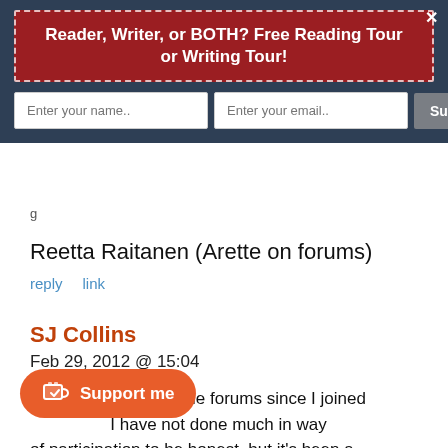[Figure (infographic): Newsletter subscription banner with dark blue background, red dashed-border box containing text 'Reader, Writer, or BOTH? Free Reading Tour or Writing Tour!', input fields for name and email, and a Subscribe Now button. Close (x) button in top right.]
g
Reetta Raitanen (Arette on forums)
reply   link
SJ Collins
Feb 29, 2012 @ 15:04
[Figure (illustration): Black ink splat avatar image]
I've been lurking on the forums since I joined... I have not done much in way of participation to be honest, but it's been a pleasure to...